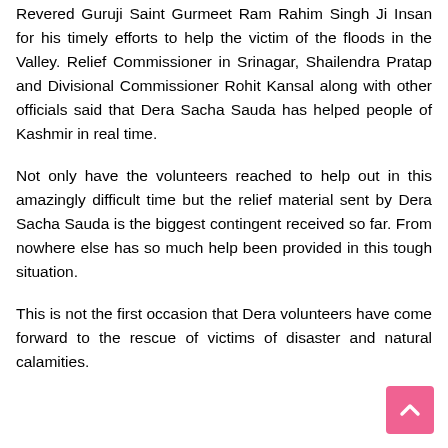Revered Guruji Saint Gurmeet Ram Rahim Singh Ji Insan for his timely efforts to help the victim of the floods in the Valley. Relief Commissioner in Srinagar, Shailendra Pratap and Divisional Commissioner Rohit Kansal along with other officials said that Dera Sacha Sauda has helped people of Kashmir in real time.
Not only have the volunteers reached to help out in this amazingly difficult time but the relief material sent by Dera Sacha Sauda is the biggest contingent received so far. From nowhere else has so much help been provided in this tough situation.
This is not the first occasion that Dera volunteers have come forward to the rescue of victims of disaster and natural calamities.